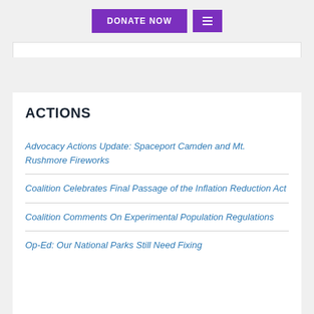DONATE NOW  ☰
ACTIONS
Advocacy Actions Update: Spaceport Camden and Mt. Rushmore Fireworks
Coalition Celebrates Final Passage of the Inflation Reduction Act
Coalition Comments On Experimental Population Regulations
Op-Ed: Our National Parks Still Need Fixing